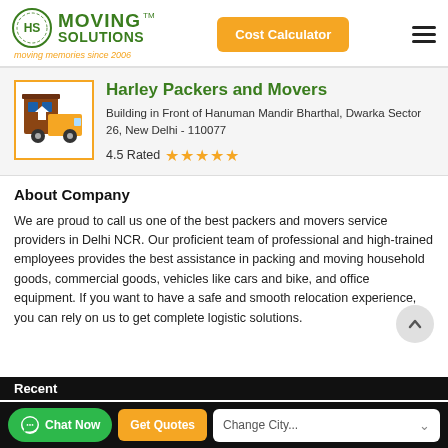[Figure (logo): Moving Solutions logo with truck and house icon, green text, tagline 'moving memories since 2006']
Harley Packers and Movers
Building in Front of Hanuman Mandir Bharthal, Dwarka Sector 26, New Delhi - 110077
4.5 Rated ★★★★★
About Company
We are proud to call us one of the best packers and movers service providers in Delhi NCR. Our proficient team of professional and high-trained employees provides the best assistance in packing and moving household goods, commercial goods, vehicles like cars and bike, and office equipment. If you want to have a safe and smooth relocation experience, you can rely on us to get complete logistic solutions.
Chat Now | Get Quotes | Change City...